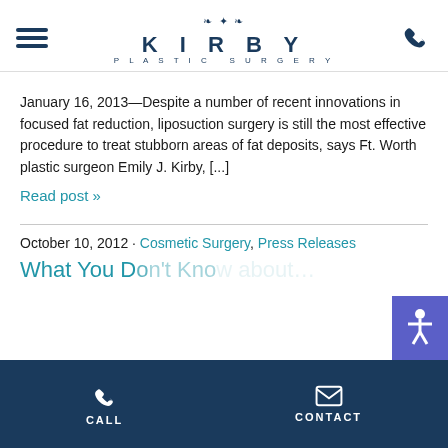KIRBY PLASTIC SURGERY
January 16, 2013—Despite a number of recent innovations in focused fat reduction, liposuction surgery is still the most effective procedure to treat stubborn areas of fat deposits, says Ft. Worth plastic surgeon Emily J. Kirby, [...]
Read post »
October 10, 2012 · Cosmetic Surgery, Press Releases
What You D…
CALL  CONTACT